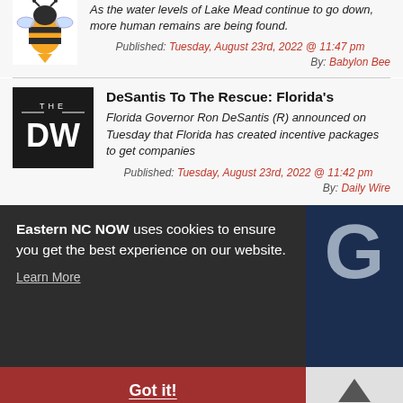As the water levels of Lake Mead continue to go down, more human remains are being found.
Published: Tuesday, August 23rd, 2022 @ 11:47 pm
By: Babylon Bee
DeSantis To The Rescue: Florida's
Florida Governor Ron DeSantis (R) announced on Tuesday that Florida has created incentive packages to get companies
Published: Tuesday, August 23rd, 2022 @ 11:42 pm
By: Daily Wire
Eastern NC NOW uses cookies to ensure you get the best experience on our website. Learn More
Got it!